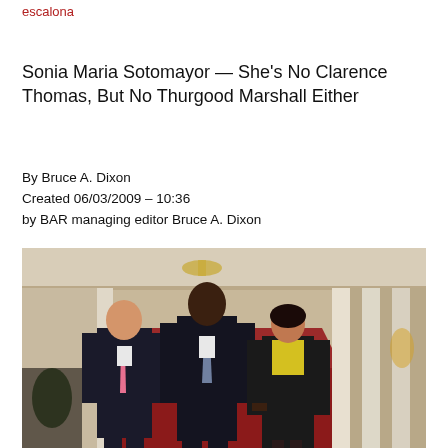escalona
Sonia Maria Sotomayor — She's No Clarence Thomas, But No Thurgood Marshall Either
By Bruce A. Dixon
Created 06/03/2009 – 10:36
by BAR managing editor Bruce A. Dixon
[Figure (photo): Three people walking in an ornate hallway with red carpet and white columns. A man in a dark suit with a pink tie on the left, a tall man in a dark suit in the center, and a woman in a black jacket and yellow top on the right. They appear to be in a formal government building.]